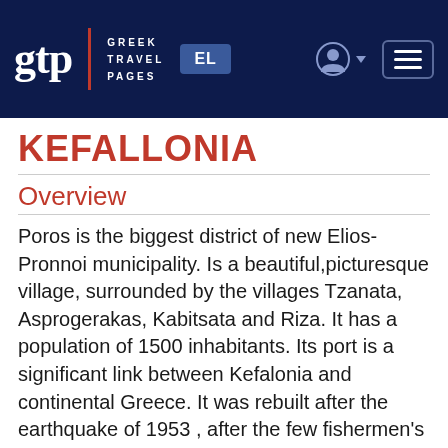[Figure (logo): GTP Greek Travel Pages navigation header bar with logo, EL language button, user icon, and hamburger menu on dark navy background]
KEFALLONIA
Overview
Poros is the biggest district of new Elios-Pronnoi municipality. Is a beautiful,picturesque village, surrounded by the villages Tzanata, Asprogerakas, Kabitsata and Riza. It has a population of 1500 inhabitants. Its port is a significant link between Kefalonia and continental Greece. It was rebuilt after the earthquake of 1953 , after the few fishermen's houses were destroyed, it is harmonically constructed at the foot of the mountains Pahni